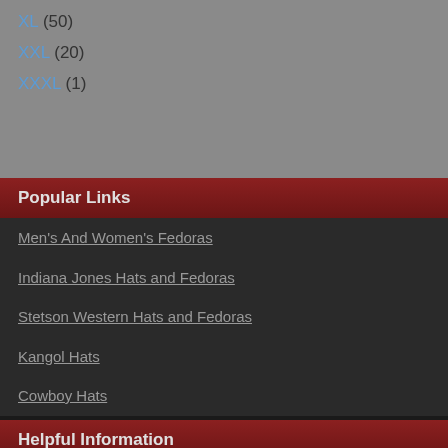XL (50)
XXL (20)
XXXL (1)
Popular Links
Men's And Women's Fedoras
Indiana Jones Hats and Fedoras
Stetson Western Hats and Fedoras
Kangol Hats
Cowboy Hats
Helpful Information
Money Back Guarantee
100% Secure Ordering
Easy Returns